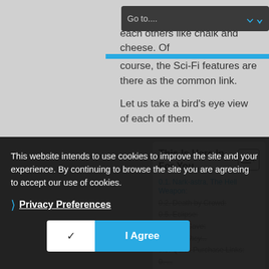[Figure (screenshot): Go to... navigation dropdown with dark background and blue chevron arrow]
each others like chalk and cheese. Of course, the Sci-Fi features are there as the common link.
Let us take a bird's eye view of each of them.
This Is Here In For You
0.1. Nark-astra, The Hell Weapon:
0.2. Death by Crowd:
0.5. Eclipse:
0.6. The Cave:
0.7. S... They...
0.8. Quick Purchase Links:
This website intends to use cookies to improve the site and your experience. By continuing to browse the site you are agreeing to accept our use of cookies.
Privacy Preferences